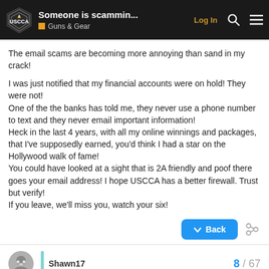Someone is scammin... | Guns & Gear
The email scams are becoming more annoying than sand in my crack!

I was just notified that my financial accounts were on hold! They were not!
One of the the banks has told me, they never use a phone number to text and they never email important information!
Heck in the last 4 years, with all my online winnings and packages, that I've supposedly earned, you'd think I had a star on the Hollywood walk of fame!
You could have looked at a sight that is 2A friendly and poof there goes your email address! I hope USCCA has a better firewall. Trust but verify!
If you leave, we'll miss you, watch your six!
Shawn17 | 8 / 67